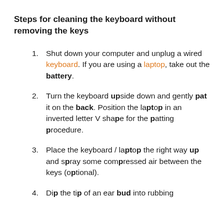Steps for cleaning the keyboard without removing the keys
Shut down your computer and unplug a wired keyboard. If you are using a laptop, take out the battery.
Turn the keyboard upside down and gently pat it on the back. Position the laptop in an inverted letter V shape for the patting procedure.
Place the keyboard / laptop the right way up and spray some compressed air between the keys (optional).
Dip the tip of an ear bud into rubbing